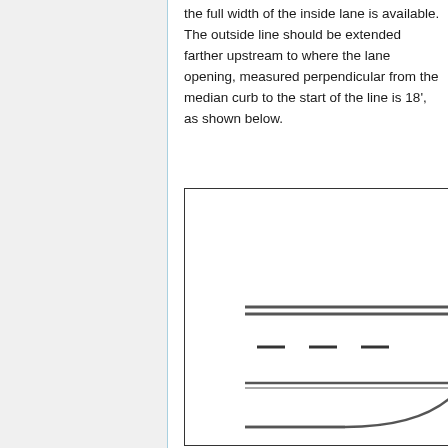the full width of the inside lane is available. The outside line should be extended farther upstream to where the lane opening, measured perpendicular from the median curb to the start of the line is 18', as shown below.
[Figure (engineering-diagram): Engineering diagram showing road lane lines including double solid lines at top, dashed center lane markings, a solid line below, and a curved merging lane line at the bottom right, indicating a lane opening/merge configuration.]